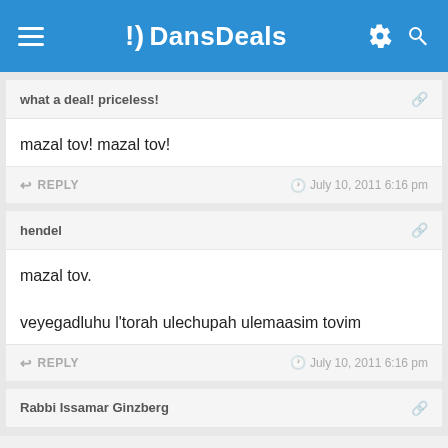DansDeals
what a deal! priceless!
mazal tov! mazal tov!
REPLY    July 10, 2011 6:16 pm
hendel
mazal tov.

veyegadluhu l'torah ulechupah ulemaasim tovim
REPLY    July 10, 2011 6:16 pm
Rabbi Issamar Ginzberg